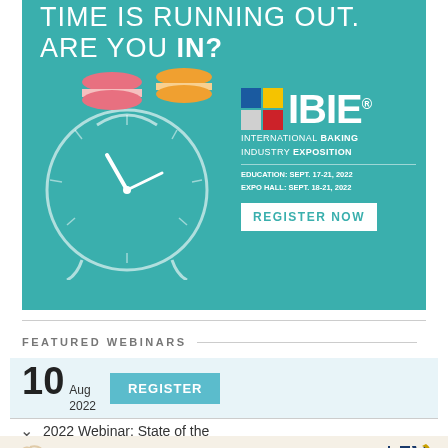[Figure (infographic): IBIE 2022 advertisement banner on teal background. Text reads TIME IS RUNNING OUT. ARE YOU IN? with an alarm clock illustration and macarons. IBIE International Baking Industry Exposition logo. Education: Sept. 17-21, 2022. Expo Hall: Sept. 18-21, 2022. REGISTER NOW button.]
FEATURED WEBINARS
[Figure (infographic): Webinar listing card showing date 10 Aug 2022 with a REGISTER button in teal, and title 2022 Webinar: State of the]
[Figure (infographic): Lesaffre advertisement bar: SEE LIVE BAKING DEMOS AT LESAFFRE IBIE BOOTH 2101 with VIEW SCHEDULE button and Lesaffre logo]